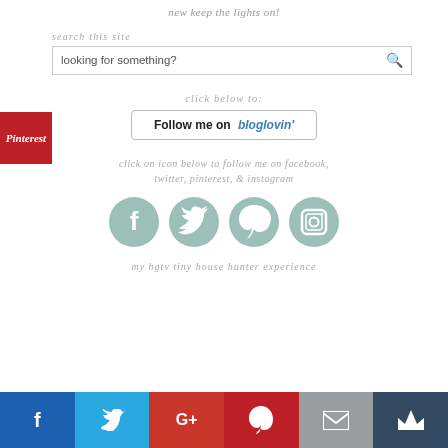new keep the lights on!
search this site
looking for something?
click below to:
[Figure (other): Follow me on bloglovin button]
click on icon below to follow me on facebook, twitter, pinterest, & instagram
[Figure (other): Social media icons: Facebook, Twitter, Pinterest, Instagram in sage green circles]
my hgtv tiny house hunter experience
[Figure (other): Bottom social bar with Facebook, Twitter, Google+, Pinterest, Email, and crown icons]